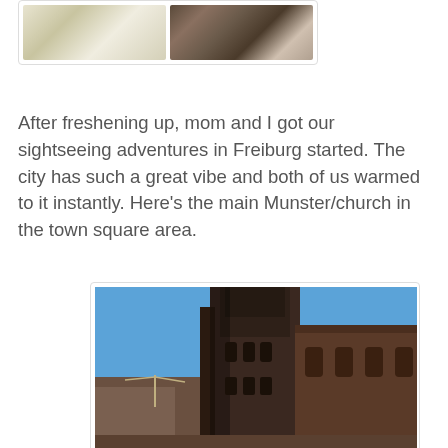[Figure (photo): Two hotel room photos side by side showing beds with white pillows/linens and a person visible in the right photo]
After freshening up, mom and I got our sightseeing adventures in Freiburg started. The city has such a great vibe and both of us warmed to it instantly. Here's the main Munster/church in the town square area.
[Figure (photo): Photo of the Freiburg Münster (cathedral) taken from ground level looking up, showing Gothic architecture with a tall tower against a clear blue sky, with a construction crane visible in the background]